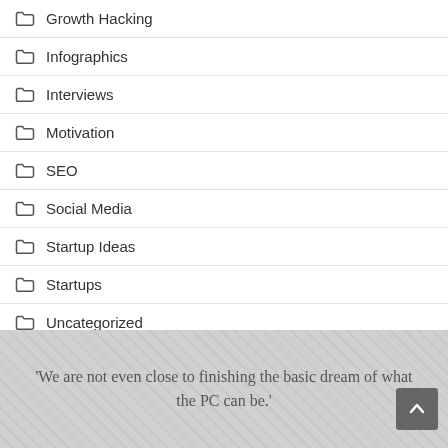Growth Hacking
Infographics
Interviews
Motivation
SEO
Social Media
Startup Ideas
Startups
Uncategorized
'We are not even close to finishing the basic dream of what the PC can be.'